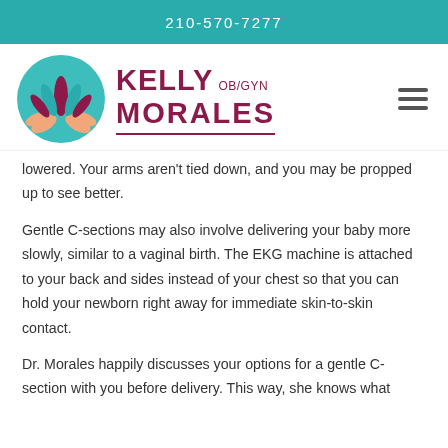210-570-7277
[Figure (logo): Kelly Morales OB/GYN logo with circular teal emblem featuring hands cradling a lotus flower, with text 'KELLY OB/GYN MORALES']
lowered. Your arms aren't tied down, and you may be propped up to see better.
Gentle C-sections may also involve delivering your baby more slowly, similar to a vaginal birth. The EKG machine is attached to your back and sides instead of your chest so that you can hold your newborn right away for immediate skin-to-skin contact.
Dr. Morales happily discusses your options for a gentle C-section with you before delivery. This way, she knows what